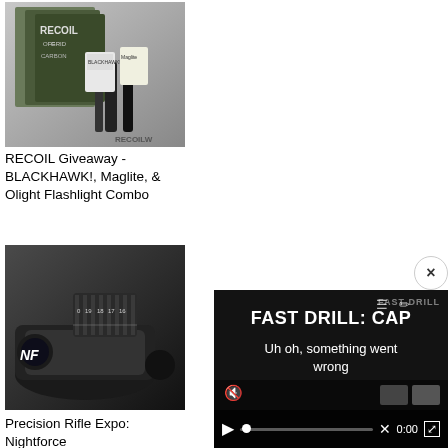[Figure (photo): Photo of RECOIL magazine, Off Grid magazine, Carbon magazine, and various flashlight products including BLACKHAWK!, Maglite, and Olight brands arranged together.]
RECOIL Giveaway - BLACKHAWK!, Maglite, & Olight Flashlight Combo
[Figure (photo): Close-up photo of a Nightforce precision rifle scope showing adjustment turrets and markings including numbers 16, 17, 18, 19, 20 and the NF logo.]
Precision Rifle Expo: Nightforce
[Figure (screenshot): Video player overlay showing 'FAST DRILL: CAP' title text and error message 'Uh oh, something went wrong' with video player controls including play button, progress bar, X, timestamp 0:00, and fullscreen button. A close (X) button appears in top corner of the overlay.]